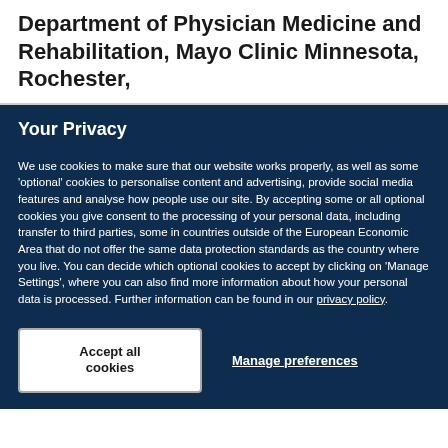Department of Physician Medicine and Rehabilitation, Mayo Clinic Minnesota, Rochester,
Your Privacy
We use cookies to make sure that our website works properly, as well as some ‘optional’ cookies to personalise content and advertising, provide social media features and analyse how people use our site. By accepting some or all optional cookies you give consent to the processing of your personal data, including transfer to third parties, some in countries outside of the European Economic Area that do not offer the same data protection standards as the country where you live. You can decide which optional cookies to accept by clicking on ‘Manage Settings’, where you can also find more information about how your personal data is processed. Further information can be found in our privacy policy.
Accept all cookies
Manage preferences